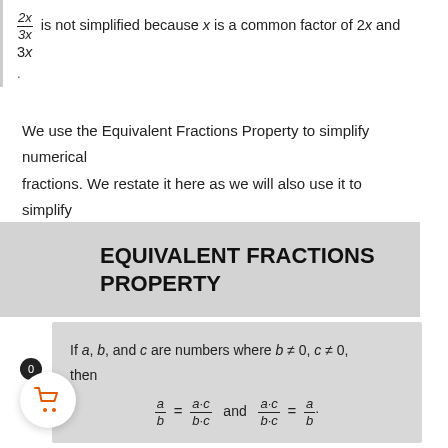2x/3x is not simplified because x is a common factor of 2x and 3x
We use the Equivalent Fractions Property to simplify numerical fractions. We restate it here as we will also use it to simplify rational expressions.
EQUIVALENT FRACTIONS PROPERTY
If a, b, and c are numbers where b ≠ 0, c ≠ 0, then